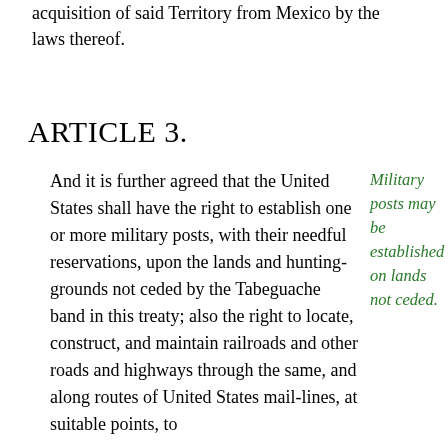acquisition of said Territory from Mexico by the laws thereof.
ARTICLE 3.
And it is further agreed that the United States shall have the right to establish one or more military posts, with their needful reservations, upon the lands and hunting-grounds not ceded by the Tabeguache band in this treaty; also the right to locate, construct, and maintain railroads and other roads and highways through the same, and along routes of United States mail-lines, at suitable points, to
Military posts may be established on lands not ceded.